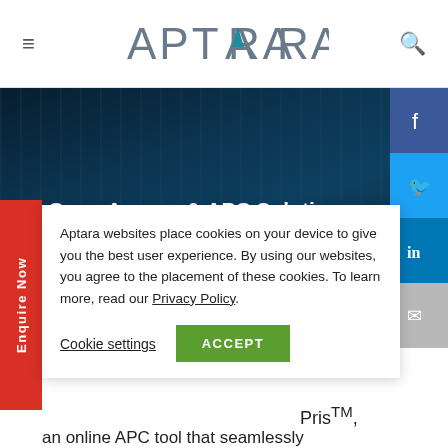≡  APTARA  🔍
[Figure (screenshot): Aptara website screenshot showing Open Access & APC Solutions page with cookie consent overlay, social media sidebar (Facebook, Twitter, LinkedIn, Email), red Enquire Now vertical tab, and partial body text about publishing models and SaaS- and Pris™]
Open Access & APC Solutions
Aptara websites place cookies on your device to give you the best user experience. By using our websites, you agree to the placement of these cookies. To learn more, read our Privacy Policy.
Cookie settings  ACCEPT
ng odels, of SaaS-
Pris™,
an online APC tool that seamlessly